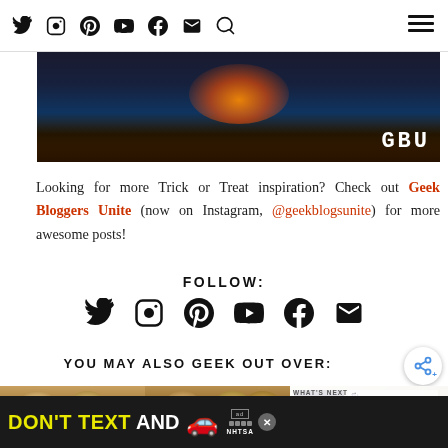Navigation bar with social icons: Twitter, Instagram, Pinterest, YouTube, Facebook, Email, Search, and hamburger menu
[Figure (photo): Dark Halloween-themed hero banner with glowing orange pumpkin light and 'GBU' text in the bottom right corner]
Looking for more Trick or Treat inspiration? Check out Geek Bloggers Unite (now on Instagram, @geekblogsunite) for more awesome posts!
FOLLOW:
[Figure (infographic): Row of social media icons: Twitter, Instagram, Pinterest, YouTube, Facebook, Email]
YOU MAY ALSO GEEK OUT OVER:
[Figure (photo): Two thumbnail photos of Baby Yoda cupcakes and an ultrasound photo next to a book/award document, with a 'WHAT'S NEXT' overlay showing 'The Best Loki Quotes from...']
DON'T TEXT AND [car emoji] ad NHTSA advertisement banner